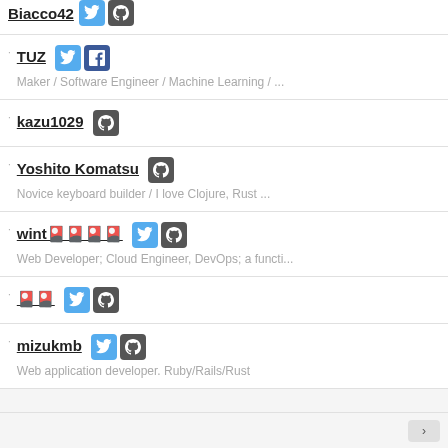Biacco42 [twitter] [github]
TUZ [twitter] [facebook]
Maker / Software Engineer / Machine Learning / ...
kazu1029 [github]
Yoshito Komatsu [github]
Novice keyboard builder / I love Clojure, Rust ...
wint🎴🎴🎴🎴 [twitter] [github]
Web Developer; Cloud Engineer, DevOps; a functi...
🎴🎴 [twitter] [github]
mizukmb [twitter] [github]
Web application developer. Ruby/Rails/Rust